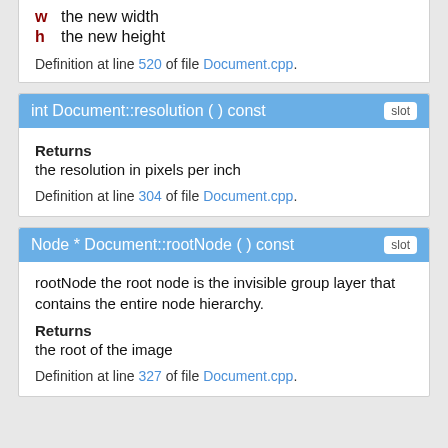w  the new width
h  the new height
Definition at line 520 of file Document.cpp.
int Document::resolution ( ) const
Returns
the resolution in pixels per inch
Definition at line 304 of file Document.cpp.
Node * Document::rootNode ( ) const
rootNode the root node is the invisible group layer that contains the entire node hierarchy.
Returns
the root of the image
Definition at line 327 of file Document.cpp.